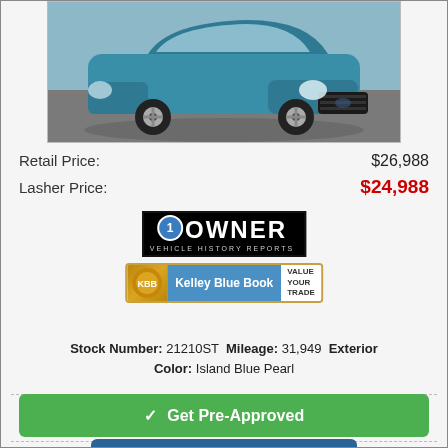[Figure (photo): Blue Subaru Impreza sedan photographed in a parking lot, front three-quarter view.]
Retail Price: $26,988
Lasher Price: $24,988
[Figure (logo): 1Owner Vehicle History Reports logo — black box with white text '1OWNER' and blue badge with '1', subtext 'VEHICLE HISTORY REPORTS']
[Figure (logo): Kelley Blue Book 'Value Your Trade' badge — gold circle logo, blue text area 'Kelley Blue Book', right side reads 'VALUE YOUR TRADE']
Stock Number: 21210ST  Mileage: 31,949  Exterior Color: Island Blue Pearl
✓ Get Pre-Approved
Get Details